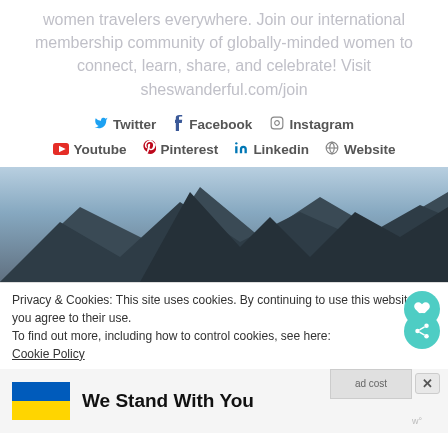women travelers everywhere. Join our international membership community of globally-minded women to connect, learn, share, and celebrate! Visit sheswanderful.com/join
Twitter  Facebook  Instagram  Youtube  Pinterest  Linkedin  Website
[Figure (photo): Mountain landscape with rocky peaks against a sky background]
Privacy & Cookies: This site uses cookies. By continuing to use this website, you agree to their use. To find out more, including how to control cookies, see here: Cookie Policy
We Stand With You